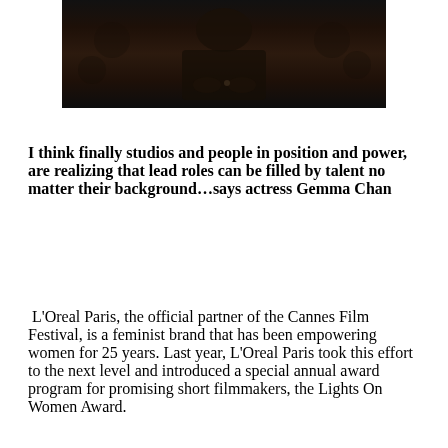[Figure (photo): Dark photograph showing a person seated, dark background, partial torso/hands visible]
I think finally studios and people in position and power, are realizing that lead roles can be filled by talent no matter their background…says actress Gemma Chan
L'Oreal Paris, the official partner of the Cannes Film Festival, is a feminist brand that has been empowering women for 25 years. Last year, L'Oreal Paris took this effort to the next level and introduced a special annual award program for promising short filmmakers, the Lights On Women Award.